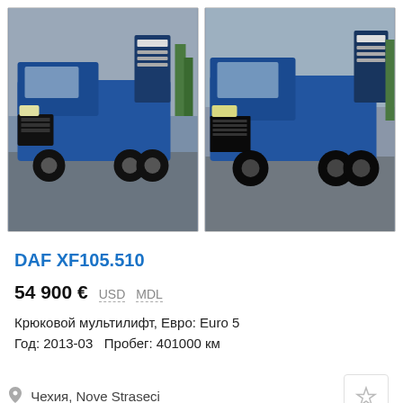[Figure (photo): Two blue DAF XF105.510 trucks photographed outdoors. Left truck is angled view, right truck is front-quarter view. Both are blue hook-lift trucks.]
DAF XF105.510
54 900 €  USD  MDL
Крюковой мультилифт, Евро: Euro 5
Год: 2013-03  Пробег: 401000 км
Чехия, Nove Straseci
[Figure (photo): Placeholder card 1 (empty)]
[Figure (photo): Placeholder card 2 (empty)]
[Figure (photo): Placeholder card 3 (partial, cropped)]